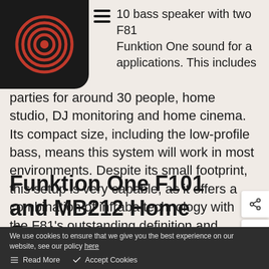10 bass speaker with two F81 Funktion One sound for a applications. This includes
parties for around 30 people, home studio, DJ monitoring and home cinema. Its compact size, including the low-profile bass, means this system will work in most environments. Despite its small footprint, this setup is very capable, as it offers a combination of infraba technology with the F81's outstanding definition and intelligibility.
Funktion One F101 and MB212 Home System
We use cookies to ensure that we give you the best experience on our website, see our policy here  Read More  Accept Cookies